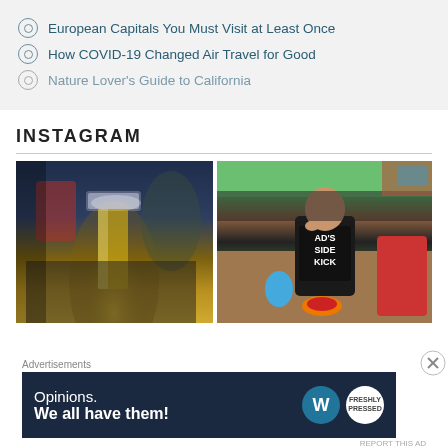European Capitals You Must Visit at Least Once
How COVID-19 Changed Air Travel for Good
Nature Lover's Guide to California
INSTAGRAM
[Figure (photo): Instagram photo of a glass of beer on a patio]
[Figure (photo): Instagram photo of a young child wearing a 'DAD'S SIDEKICK' shirt outdoors]
Advertisements
[Figure (infographic): WordPress advertisement banner: Opinions. We all have them!]